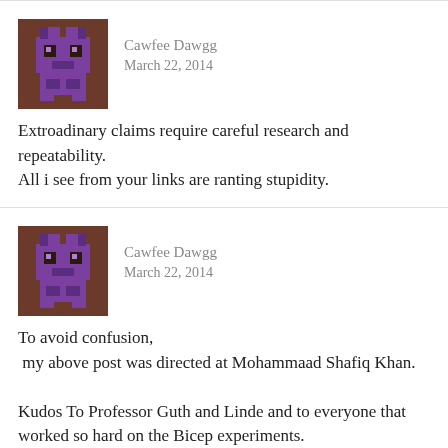[Figure (illustration): Pixel art avatar of a purple creature on brown background for user Cawfee Dawgg]
Cawfee Dawgg
March 22, 2014
Extroadinary claims require careful research and repeatability.
All i see from your links are ranting stupidity.
[Figure (illustration): Pixel art avatar of a purple creature on brown background for user Cawfee Dawgg]
Cawfee Dawgg
March 22, 2014
To avoid confusion,
 my above post was directed at Mohammaad Shafiq Khan.

Kudos To Professor Guth and Linde and to everyone that worked so hard on the Bicep experiments.